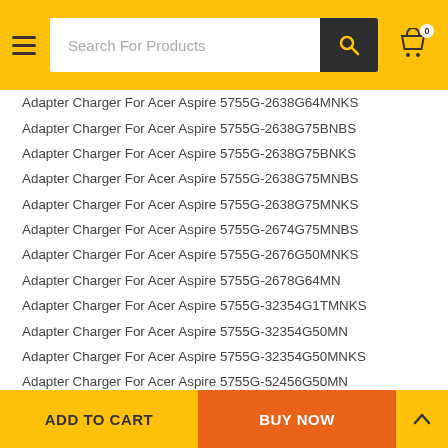Search For Products
Adapter Charger For Acer Aspire 5755G-2638G64MNKS
Adapter Charger For Acer Aspire 5755G-2638G75BNBS
Adapter Charger For Acer Aspire 5755G-2638G75BNKS
Adapter Charger For Acer Aspire 5755G-2638G75MNBS
Adapter Charger For Acer Aspire 5755G-2638G75MNKS
Adapter Charger For Acer Aspire 5755G-2674G75MNBS
Adapter Charger For Acer Aspire 5755G-2676G50MNKS
Adapter Charger For Acer Aspire 5755G-2678G64MN
Adapter Charger For Acer Aspire 5755G-32354G1TMNKS
Adapter Charger For Acer Aspire 5755G-32354G50MN
Adapter Charger For Acer Aspire 5755G-32354G50MNKS
Adapter Charger For Acer Aspire 5755G-52456G50MN
Adapter Charger For Acer Aspire 5755G-6491
Adapter Charger For Acer Aspire 5755G-6620
Adapter Charger For Acer Aspire 5755G-6823
ADD TO CART   BUY NOW